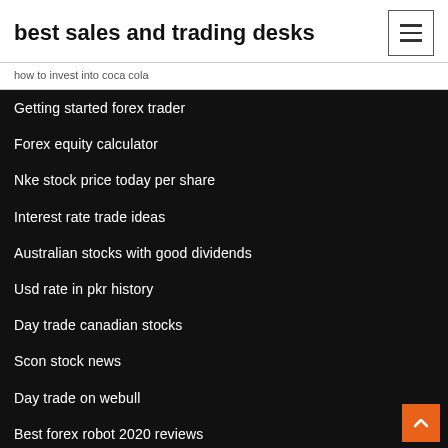best sales and trading desks
how to invest into coca cola
Getting started forex trader
Forex equity calculator
Nke stock price today per share
Interest rate trade ideas
Australian stocks with good dividends
Usd rate in pkr history
Day trade canadian stocks
Scon stock news
Day trade on webull
Best forex robot 2020 reviews